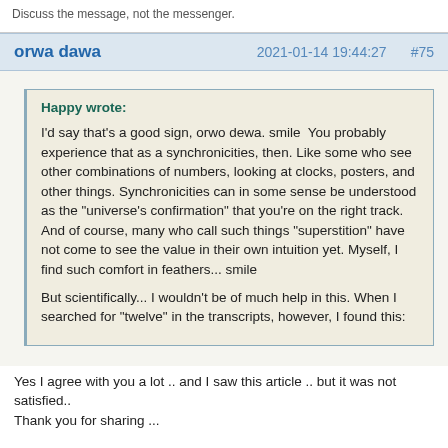Discuss the message, not the messenger.
orwa dawa   2021-01-14 19:44:27   #75
Happy wrote:
I'd say that's a good sign, orwo dewa. smile  You probably experience that as a synchronicities, then. Like some who see other combinations of numbers, looking at clocks, posters, and other things. Synchronicities can in some sense be understood as the "universe's confirmation" that you're on the right track. And of course, many who call such things "superstition" have not come to see the value in their own intuition yet. Myself, I find such comfort in feathers... smile

But scientifically... I wouldn't be of much help in this. When I searched for "twelve" in the transcripts, however, I found this:
Yes I agree with you a lot .. and I saw this article .. but it was not satisfied..
Thank you for sharing ...